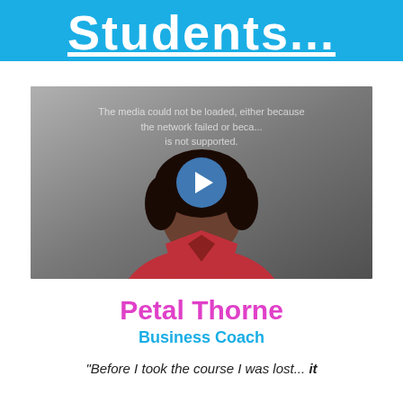Students...
[Figure (screenshot): Video thumbnail of a woman in a red top with curly hair. A blue play button is centered on the video. An error message reads: 'The media could not be loaded, either because the network failed or because the format is not supported.']
Petal Thorne
Business Coach
"Before I took the course I was lost... it